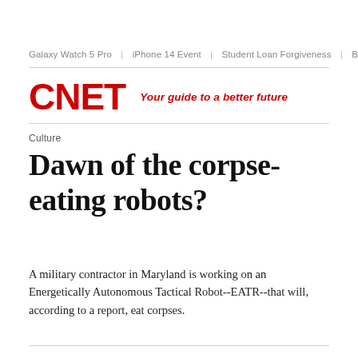Galaxy Watch 5 Pro | iPhone 14 Event | Student Loan Forgiveness | B
[Figure (logo): CNET logo in red bold text with tagline 'Your guide to a better future' in red italic]
Culture
Dawn of the corpse-eating robots?
A military contractor in Maryland is working on an Energetically Autonomous Tactical Robot--EATR--that will, according to a report, eat corpses.